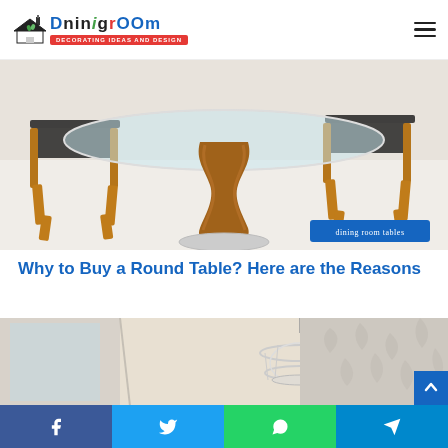DningRoom - DECORATING IDEAS AND DESIGN
[Figure (photo): Close-up photo of a round glass dining table with a twisted wooden pedestal base and white circular base plate, with wooden chairs with black leather seats on either side, on a light floor.]
dining room tables
Why to Buy a Round Table? Here are the Reasons
[Figure (photo): Interior photo showing a room corner with a white pendant light fixture, beige walls, and decorative leaf-pattern wallpaper.]
Share buttons: Facebook, Twitter, WhatsApp, Telegram